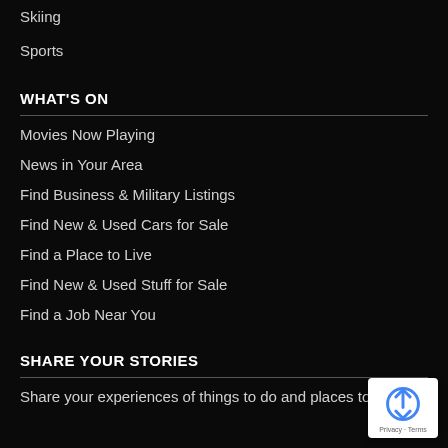Skiing
Sports
WHAT'S ON
Movies Now Playing
News in Your Area
Find Business & Military Listings
Find New & Used Cars for Sale
Find a Place to Live
Find New & Used Stuff for Sale
Find a Job Near You
SHARE YOUR STORIES
Share your experiences of things to do and places to visit